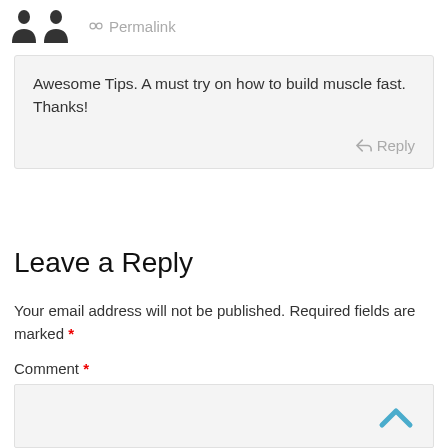[Figure (illustration): Two dark silhouette avatar icons side by side, followed by a chain/link icon and the word Permalink in gray]
Awesome Tips. A must try on how to build muscle fast.
Thanks!
Reply
Leave a Reply
Your email address will not be published. Required fields are marked *
Comment *